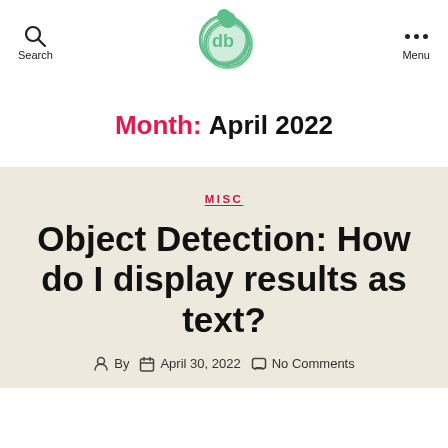Search | db logo | Menu
Month: April 2022
MISC
Object Detection: How do I display results as text?
By  April 30, 2022  No Comments